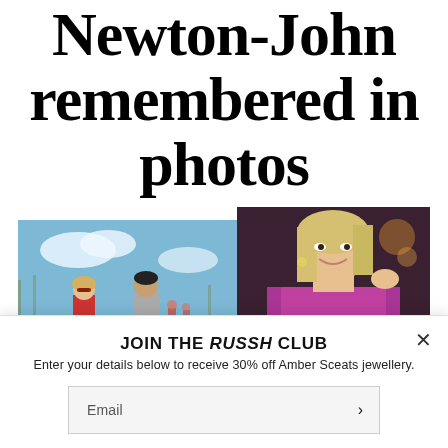Newton-John remembered in photos
[Figure (photo): Two overlapping photos: left shows Olivia Newton-John and John Travolta in a scene from Grease on a sports field; right shows Olivia Newton-John in a pink/magenta sparkly outfit at an event, smiling.]
JOIN THE RUSSH CLUB
Enter your details below to receive 30% off Amber Sceats jewellery.
Email